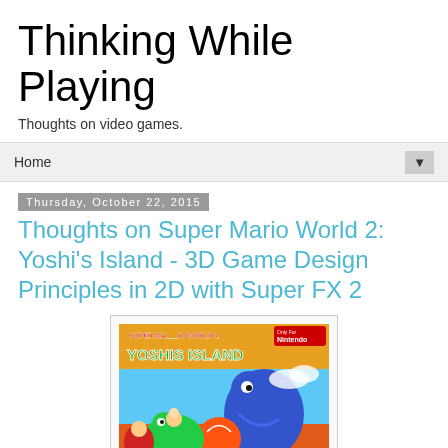Thinking While Playing
Thoughts on video games.
Home ▼
Thursday, October 22, 2015
Thoughts on Super Mario World 2: Yoshi's Island - 3D Game Design Principles in 2D with Super FX 2
[Figure (photo): Super Mario World 2: Yoshi's Island SNES game box cover art showing Yoshi and characters with colorful illustrated style]